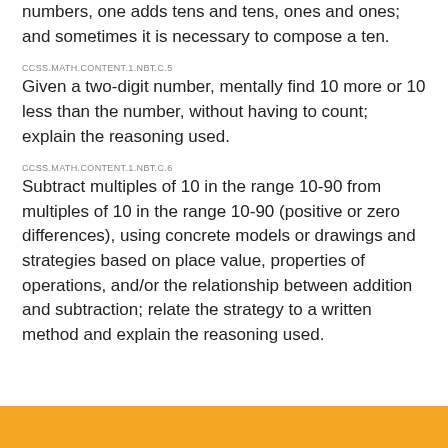numbers, one adds tens and tens, ones and ones; and sometimes it is necessary to compose a ten.
CCSS.MATH.CONTENT.1.NBT.C.5
Given a two-digit number, mentally find 10 more or 10 less than the number, without having to count; explain the reasoning used.
CCSS.MATH.CONTENT.1.NBT.C.6
Subtract multiples of 10 in the range 10-90 from multiples of 10 in the range 10-90 (positive or zero differences), using concrete models or drawings and strategies based on place value, properties of operations, and/or the relationship between addition and subtraction; relate the strategy to a written method and explain the reasoning used.